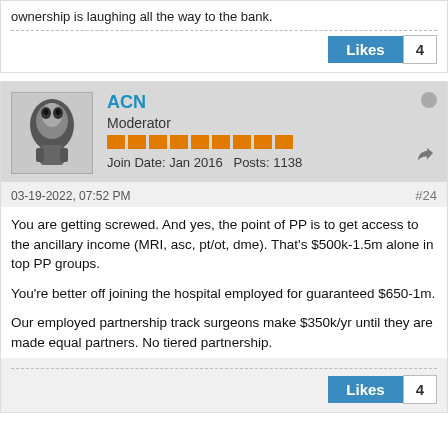ownership is laughing all the way to the bank.
Likes 4
ACN
Moderator
Join Date: Jan 2016  Posts: 1138
03-19-2022, 07:52 PM  #24
You are getting screwed. And yes, the point of PP is to get access to the ancillary income (MRI, asc, pt/ot, dme). That's $500k-1.5m alone in top PP groups.

You're better off joining the hospital employed for guaranteed $650-1m.

Our employed partnership track surgeons make $350k/yr until they are made equal partners. No tiered partnership.
Likes 4